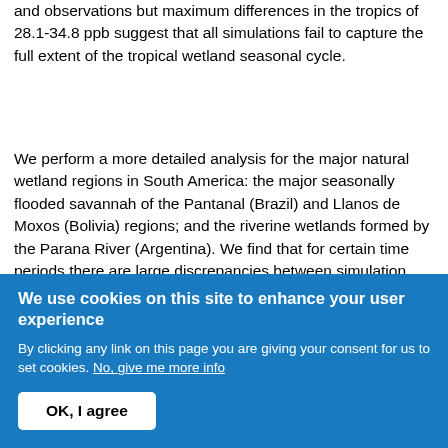and observations but maximum differences in the tropics of 28.1-34.8 ppb suggest that all simulations fail to capture the full extent of the tropical wetland seasonal cycle.
We perform a more detailed analysis for the major natural wetland regions in South America: the major seasonally flooded savannah of the Pantanal (Brazil) and Llanos de Moxos (Bolivia) regions; and the riverine wetlands formed by the Parana River (Argentina). We find that for certain time periods there are large discrepancies between simulation and observation. In particular, strong enhancements in the methane seasonal cycle are observed over the Pantanal and Llanos de Moxos region in 2010, 2011 and 2014 and over the Parana River region in 2010 and 2014. We find highly consistent behaviour
We use cookies on this site to enhance your user experience
By clicking any link on this page you are giving your consent for us to set cookies. No, give me more info
OK, I agree